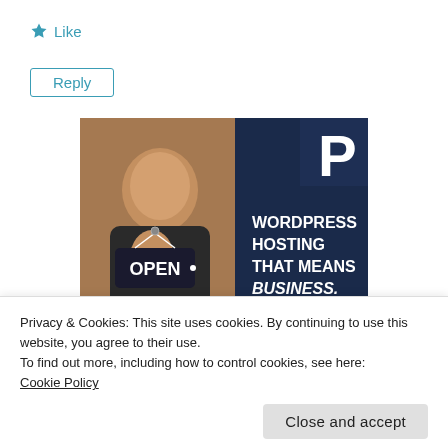★ Like
Reply
[Figure (illustration): Advertisement banner for WordPress hosting. Left half shows a smiling woman holding an OPEN sign in a shop doorway. Right half is dark navy blue with a large white 'P' logo at top right and bold white text reading: WORDPRESS HOSTING THAT MEANS BUSINESS.]
Privacy & Cookies: This site uses cookies. By continuing to use this website, you agree to their use.
To find out more, including how to control cookies, see here:
Cookie Policy
Close and accept